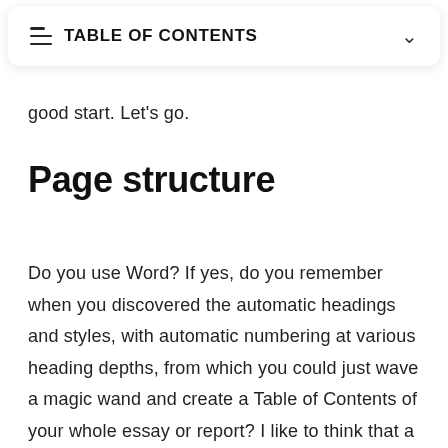TABLE OF CONTENTS
good start. Let's go.
Page structure
Do you use Word? If yes, do you remember when you discovered the automatic headings and styles, with automatic numbering at various heading depths, from which you could just wave a magic wand and create a Table of Contents of your whole essay or report? I like to think that a well structured page on a website would also